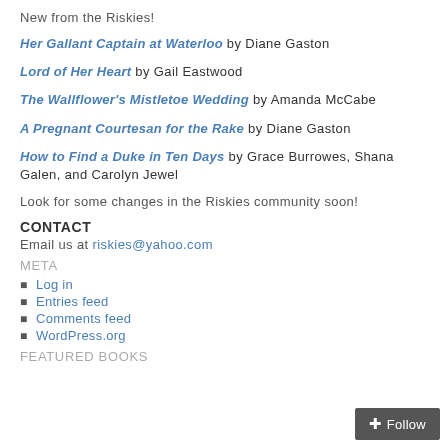New from the Riskies!
Her Gallant Captain at Waterloo by Diane Gaston
Lord of Her Heart by Gail Eastwood
The Wallflower's Mistletoe Wedding by Amanda McCabe
A Pregnant Courtesan for the Rake by Diane Gaston
How to Find a Duke in Ten Days by Grace Burrowes, Shana Galen, and Carolyn Jewel
Look for some changes in the Riskies community soon!
CONTACT
Email us at riskies@yahoo.com
META
Log in
Entries feed
Comments feed
WordPress.org
FEATURED BOOKS